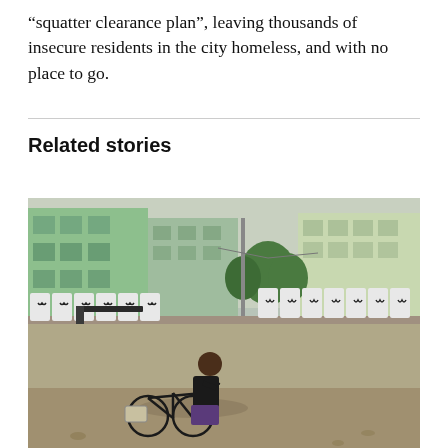“squatter clearance plan”, leaving thousands of insecure residents in the city homeless, and with no place to go.
Related stories
[Figure (photo): A person riding a bicycle past a fence lined with white shirts bearing black ribbons, with apartment buildings visible in the background. Street scene in an urban area.]